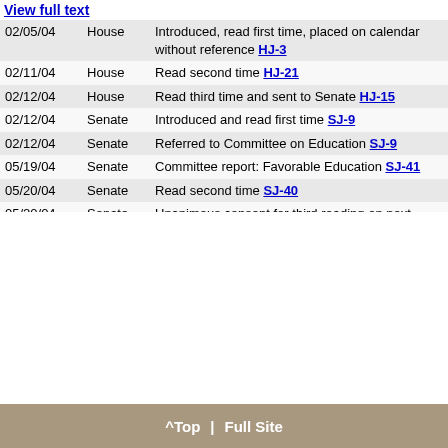View full text
| Date | Chamber | Action |
| --- | --- | --- |
| 02/05/04 | House | Introduced, read first time, placed on calendar without reference HJ-3 |
| 02/11/04 | House | Read second time HJ-21 |
| 02/12/04 | House | Read third time and sent to Senate HJ-15 |
| 02/12/04 | Senate | Introduced and read first time SJ-9 |
| 02/12/04 | Senate | Referred to Committee on Education SJ-9 |
| 05/19/04 | Senate | Committee report: Favorable Education SJ-41 |
| 05/20/04 | Senate | Read second time SJ-40 |
| 05/20/04 | Senate | Unanimous consent for third reading on next legislative day SJ-41 |
| 05/21/04 | Senate | Read third time and enrolled SJ-1 |
| 06/02/04 |  | Ratified R 366 |
| 07/22/04 |  | Signed By Governor |
| 07/28/04 |  | Copies available |
| 07/28/04 |  | Effective date 07/22/04 |
| 08/03/04 |  | Act No. 284 |
^Top | Full Site